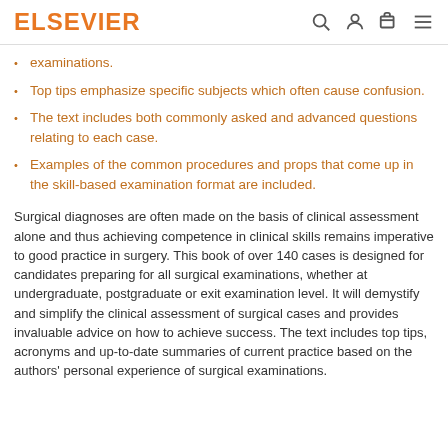ELSEVIER
examinations.
Top tips emphasize specific subjects which often cause confusion.
The text includes both commonly asked and advanced questions relating to each case.
Examples of the common procedures and props that come up in the skill-based examination format are included.
Surgical diagnoses are often made on the basis of clinical assessment alone and thus achieving competence in clinical skills remains imperative to good practice in surgery. This book of over 140 cases is designed for candidates preparing for all surgical examinations, whether at undergraduate, postgraduate or exit examination level. It will demystify and simplify the clinical assessment of surgical cases and provides invaluable advice on how to achieve success. The text includes top tips, acronyms and up-to-date summaries of current practice based on the authors' personal experience of surgical examinations.